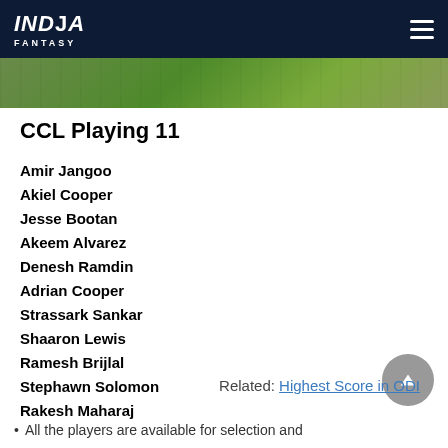INDIA FANTASY
CCL Playing 11
Amir Jangoo
Akiel Cooper
Jesse Bootan
Akeem Alvarez
Denesh Ramdin
Adrian Cooper
Strassark Sankar
Shaaron Lewis
Ramesh Brijlal
Stephawn Solomon
Rakesh Maharaj
Related: Highest Score in ODI
All the players are available for selection and